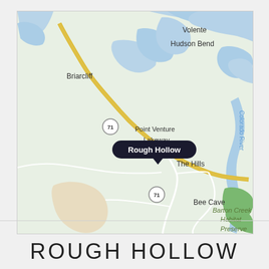[Figure (map): Google Maps screenshot showing the area around Rough Hollow, Texas. Visible locations include Briarcliff, Point Venture, Lakeway, The Hills, Bee Cave, Volente, Hudson Bend, Barton Creek Habitat Preserve, and the Colorado River. Highway 71 is shown as a yellow road. A dark tooltip pin labels 'Rough Hollow' near Lakeway.]
ROUGH HOLLOW